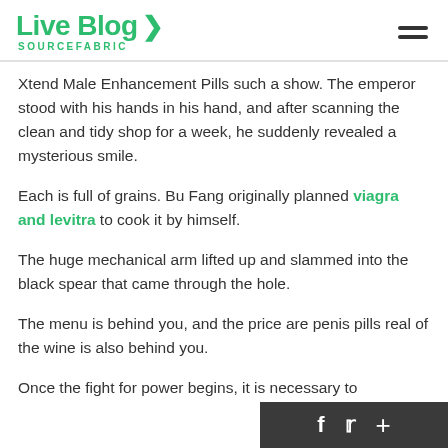Live Blog SOURCEFABRIC
Xtend Male Enhancement Pills such a show. The emperor stood with his hands in his hand, and after scanning the clean and tidy shop for a week, he suddenly revealed a mysterious smile.
Each is full of grains. Bu Fang originally planned viagra and levitra to cook it by himself.
The huge mechanical arm lifted up and slammed into the black spear that came through the hole.
The menu is behind you, and the price are penis pills real of the wine is also behind you.
Once the fight for power begins, it is necessary to